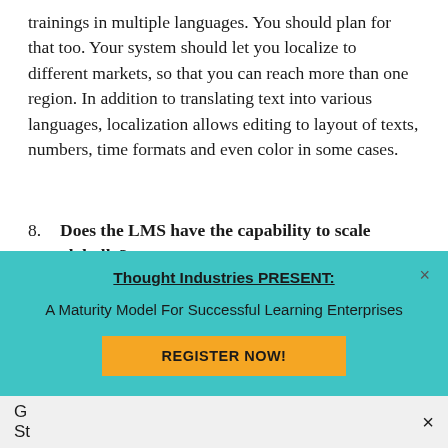trainings in multiple languages. You should plan for that too. Your system should let you localize to different markets, so that you can reach more than one region. In addition to translating text into various languages, localization allows editing to layout of texts, numbers, time formats and even color in some cases.
8. Does the LMS have the capability to scale globally? If you are going to offer your course to the world, your LMS needs to have the capacity to scale to the world. Your learning system should have the
[Figure (other): Teal popup modal with title 'Thought Industries PRESENT:', subtitle 'A Maturity Model For Successful Learning Enterprises', and a yellow 'REGISTER NOW!' button. Has a close X in the top right corner.]
G... St...